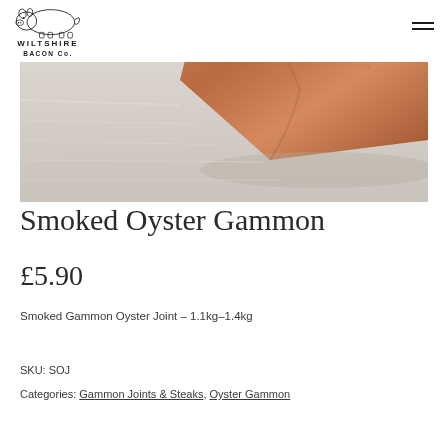Wiltshire Bacon Co.
[Figure (photo): Close-up photo of a smoked gammon oyster joint on a light brushed metal surface, showing golden-brown cured meat with a rind edge]
Smoked Oyster Gammon
£5.90
Smoked Gammon Oyster Joint – 1.1kg–1.4kg
SKU: SOJ
Categories: Gammon Joints & Steaks, Oyster Gammon